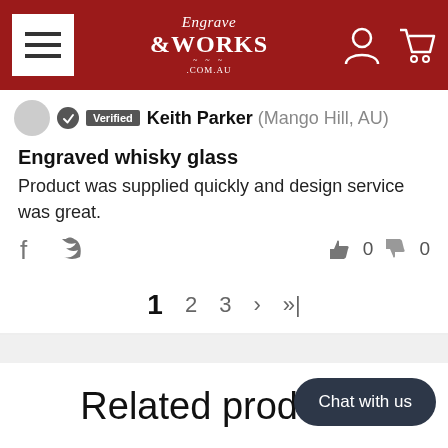Engrave Works .com.au — navigation header
Verified Keith Parker (Mango Hill, AU)
Engraved whisky glass
Product was supplied quickly and design service was great.
0   0
1  2  3  >  >>
Related products
Chat with us